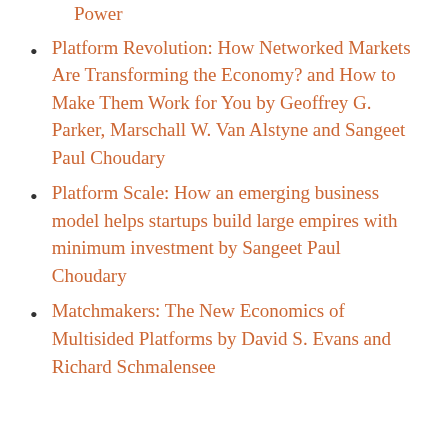Power
Platform Revolution: How Networked Markets Are Transforming the Economy? and How to Make Them Work for You by Geoffrey G. Parker, Marschall W. Van Alstyne and Sangeet Paul Choudary
Platform Scale: How an emerging business model helps startups build large empires with minimum investment by Sangeet Paul Choudary
Matchmakers: The New Economics of Multisided Platforms by David S. Evans and Richard Schmalensee